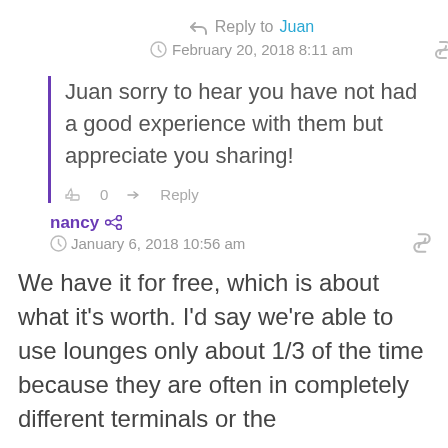Reply to Juan
February 20, 2018 8:11 am
Juan sorry to hear you have not had a good experience with them but appreciate you sharing!
0   Reply
nancy
January 6, 2018 10:56 am
We have it for free, which is about what it's worth. I'd say we're able to use lounges only about 1/3 of the time because they are often in completely different terminals or the